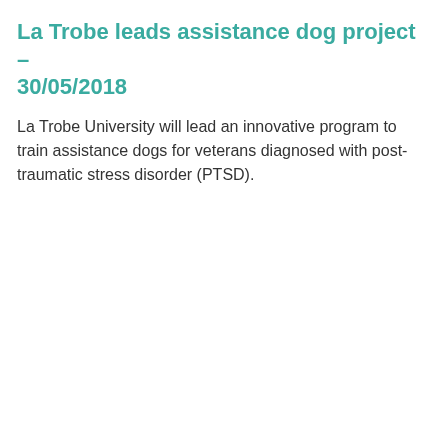La Trobe leads assistance dog project – 30/05/2018
La Trobe University will lead an innovative program to train assistance dogs for veterans diagnosed with post-traumatic stress disorder (PTSD).